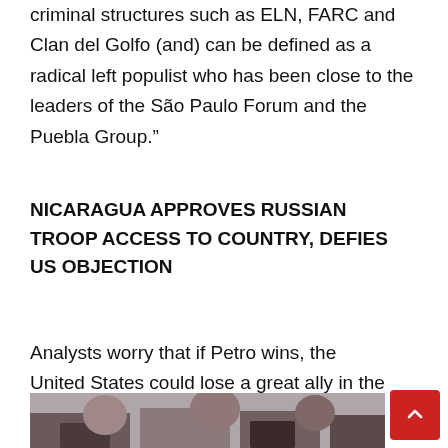criminal structures such as ELN, FARC and Clan del Golfo (and) can be defined as a radical left populist who has been close to the leaders of the São Paulo Forum and the Puebla Group.”
NICARAGUA APPROVES RUSSIAN TROOP ACCESS TO COUNTRY, DEFIES US OBJECTION
Analysts worry that if Petro wins, the United States could lose a great ally in the hemisphere and witness the continued growth of influence of Russia, China and Iran among its closest neighbors.
[Figure (photo): Bottom portion of a photo showing people seated, partially visible at the bottom of the page]